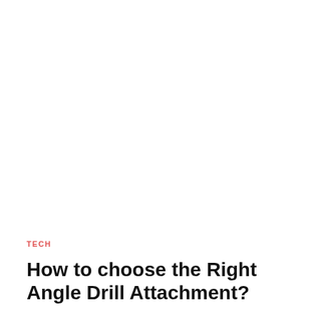TECH
How to choose the Right Angle Drill Attachment?